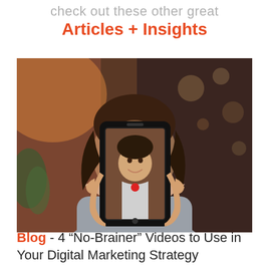check out these other great Articles + Insights
[Figure (photo): Woman holding up a smartphone showing herself on the screen recording a video, bokeh background of a cafe or restaurant interior]
Blog - 4 “No-Brainer” Videos to Use in Your Digital Marketing Strategy